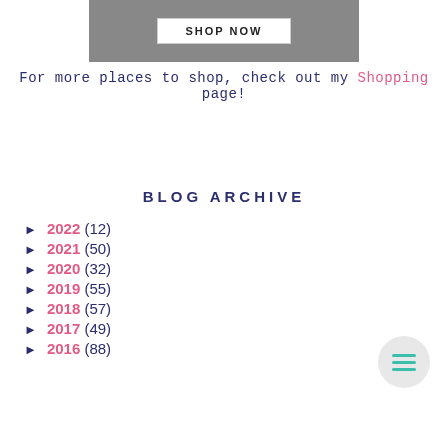[Figure (photo): Photo of people in dark clothing with a 'SHOP NOW' button overlay]
For more places to shop, check out my Shopping page!
BLOG ARCHIVE
► 2022 (12)
► 2021 (50)
► 2020 (32)
► 2019 (55)
► 2018 (57)
► 2017 (49)
► 2016 (88)